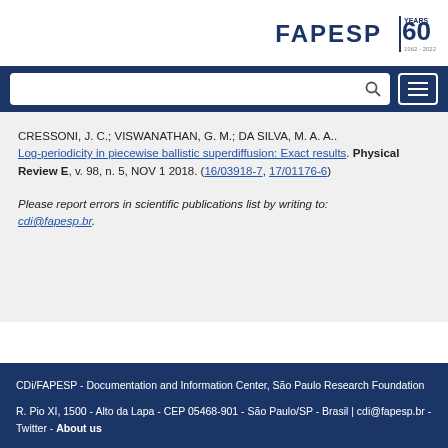[Figure (logo): FAPESP 60 Years 1962-2022 logo in dark blue]
CRESSONI, J. C.; VISWANATHAN, G. M.; DA SILVA, M. A. A.. Log-periodicity in piecewise ballistic superdiffusion: Exact results. Physical Review E, v. 98, n. 5, NOV 1 2018. (16/03918-7, 17/01176-6)
Please report errors in scientific publications list by writing to: cdi@fapesp.br.
CDi/FAPESP - Documentation and Information Center, São Paulo Research Foundation
R. Pio XI, 1500 - Alto da Lapa - CEP 05468-901 - São Paulo/SP - Brasil | cdi@fapesp.br - Twitter - About us